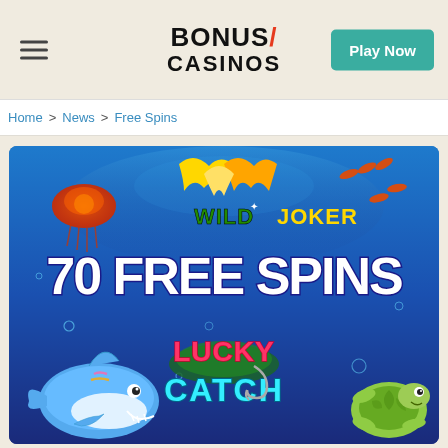BONUS/ CASINOS | Play Now
Home > News > Free Spins
[Figure (illustration): Wild Joker casino promotional banner showing '70 FREE SPINS' on the Lucky Catch slot game, featuring an underwater theme with a shark, turtle, jellyfish, and colorful fish on a blue gradient background.]